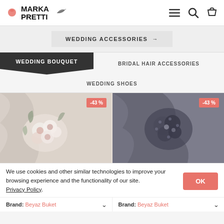[Figure (logo): Marka Pretti logo with red sun, stylized text and plant/floral graphic elements, plus navigation icons (hamburger menu, search, cart)]
WEDDING ACCESSORIES →
WEDDING BOUQUET
BRIDAL HAIR ACCESSORIES
WEDDING SHOES
[Figure (photo): Cream and pink wedding bouquet with white flowers and greenery on a white fabric background, with -43% discount badge]
[Figure (photo): Dark blue-grey dried flower wedding bouquet on silk fabric background, with -43% discount badge]
We use cookies and other similar technologies to improve your browsing experience and the functionality of our site. Privacy Policy.
Brand: Beyaz Buket
Brand: Beyaz Buket